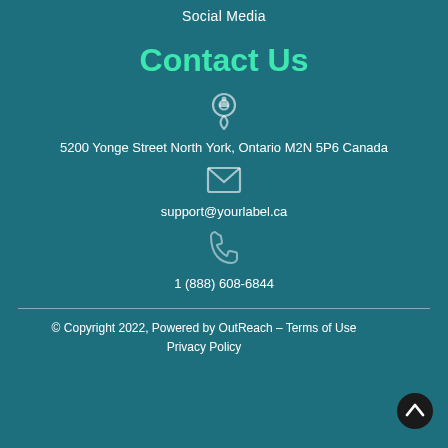Social Media
Contact Us
5200 Yonge Street North York, Ontario M2N 5P6 Canada
support@yourlabel.ca
1 (888) 608-6844
© Copyright 2022, Powered by OutReach – Terms of Use
Privacy Policy